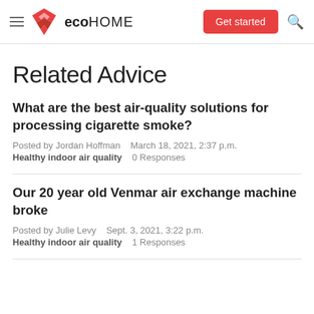eco HOME — Get started
Related Advice
What are the best air-quality solutions for processing cigarette smoke?
Posted by Jordan Hoffman    March 18, 2021, 2:37 p.m.
Healthy indoor air quality    0 Responses
Our 20 year old Venmar air exchange machine broke
Posted by Julie Levy    Sept. 3, 2021, 3:22 p.m.
Healthy indoor air quality    1 Responses